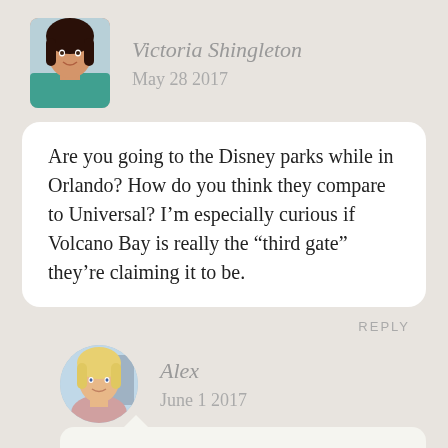[Figure (photo): Profile photo of Victoria Shingleton, a woman with dark hair wearing a teal top]
Victoria Shingleton
May 28 2017
Are you going to the Disney parks while in Orlando? How do you think they compare to Universal? I’m especially curious if Volcano Bay is really the “third gate” they’re claiming it to be.
REPLY
[Figure (photo): Profile photo of Alex, a blonde woman]
Alex
June 1 2017
Hey Victoria! I haven’t been to the Disneyworld parks since I was a kid, but I love the Disneyland parks